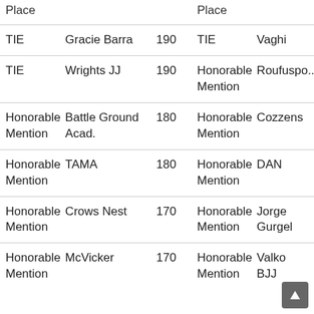| Place |  | 190 | Place |  |
| --- | --- | --- | --- | --- |
| TIE | Gracie Barra | 190 | TIE | Vaghi |
| TIE | Wrights JJ | 190 | Honorable Mention | Roufuspo... |
| Honorable Mention | Battle Ground Acad. | 180 | Honorable Mention | Cozzens |
| Honorable Mention | TAMA | 180 | Honorable Mention | DAN |
| Honorable Mention | Crows Nest | 170 | Honorable Mention | Jorge Gurgel |
| Honorable Mention | McVicker | 170 | Honorable Mention | Valko BJJ |